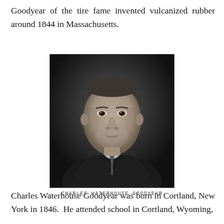Goodyear of the tire fame invented vulcanized rubber around 1844 in Massachusetts.
[Figure (photo): Black and white portrait photograph of Charles Waterhouse Goodyear, a middle-aged man in a dark suit with a tie, shown from the chest up, looking slightly to the right.]
CHARLES WATERHOUSE GOODYEAR
Charles Waterhouse Goodyear was born in Cortland, New York in 1846.  He attended school in Cortland, Wyoming,